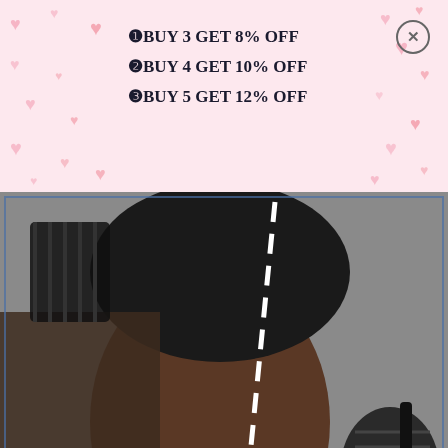[Figure (infographic): Pink hearts background banner at top of page]
❶BUY 3 GET 8% OFF
❷BUY 4 GET 10% OFF
❸BUY 5 GET 12% OFF
[Figure (photo): Side profile of a man with a fade haircut showing hair comb tools overlaid. Text overlays read CURVE UP and COMB NEATLY with a dashed line dividing styled and unstyled hair. Google icon and mail icon visible.]
Comfortable, Tangle-Free
Woven square pattern is easier to grasp and protects your hair from being pulled. Rotate the comb to follow your curl